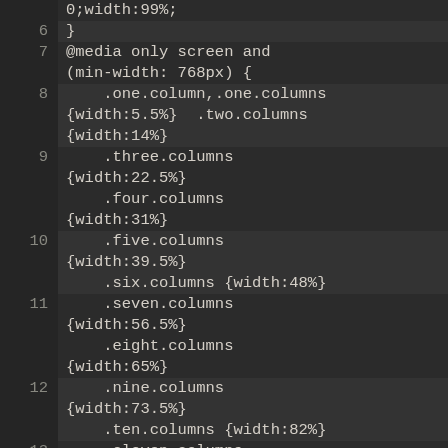[Figure (screenshot): Code editor screenshot showing CSS code with line numbers 6-13, dark theme. Lines show CSS for @media query with column width definitions for .one.columns through .twelve.columns.]